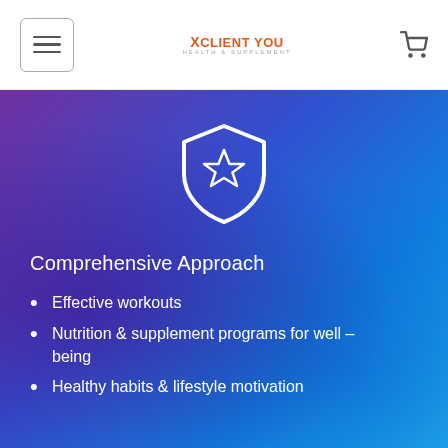[Figure (logo): XClient You health & supplement brand logo in orange/red text]
[Figure (illustration): White shield icon with a star in the center, on blue/purple gradient background]
Comprehensive Approach
Effective workouts
Nutrition & supplement programs for well – being
Healthy habits & lifestyle motivation